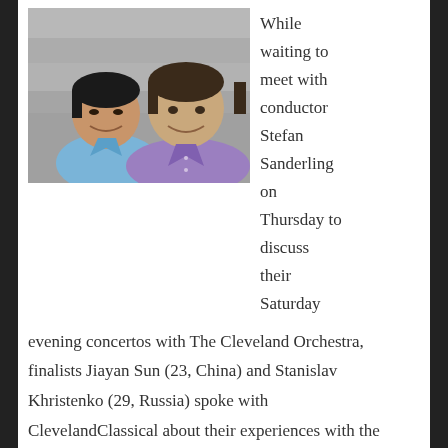[Figure (photo): Two young men smiling, one in a light blue shirt (Jiayan Sun) and one in a purple shirt (Stanislav Khristenko), standing outdoors in front of a stone building.]
While waiting to meet with conductor Stefan Sanderling on Thursday to discuss their Saturday evening concertos with The Cleveland Orchestra, finalists Jiayan Sun (23, China) and Stanislav Khristenko (29, Russia) spoke with ClevelandClassical about their experiences with the Cleveland International Piano Competition until now